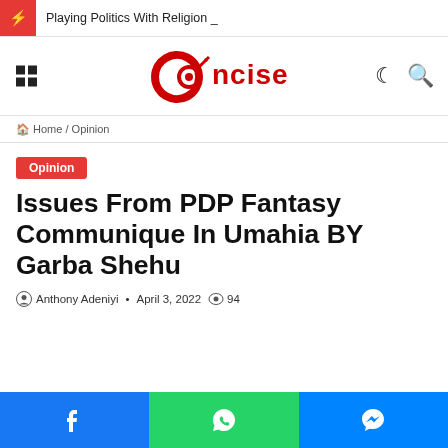Playing Politics With Religion _
[Figure (logo): Concise news logo - red target/dart icon with text 'Concise']
Home / Opinion
Opinion
Issues From PDP Fantasy Communique In Umahia BY Garba Shehu
Anthony Adeniyi · April 3, 2022  94
[Figure (infographic): Social share bar with Facebook, WhatsApp, and Messenger buttons]